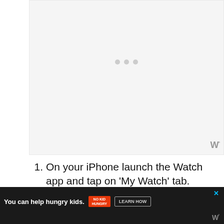[Figure (screenshot): White/light gray placeholder image area with three small gray dots in the center and a watermark logo 'W°' in the bottom-right corner]
On your iPhone launch the Watch app and tap on 'My Watch' tab.
Scroll down and tap on 'Clock' option.
Now tap on 'City Abbreviations' and from
[Figure (screenshot): Advertisement bar at bottom: dark background with 'You can help hungry kids.' text, No Kid Hungry logo, Learn How button, close X button, and W° logo]